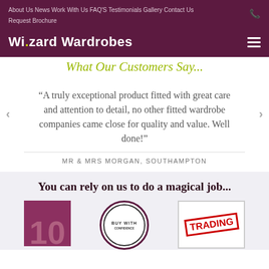About Us  News  Work With Us  FAQ'S  Testimonials  Gallery  Contact Us  Request Brochure
Wizard Wardrobes
What Our Customers Say...
“A truly exceptional product fitted with great care and attention to detail, no other fitted wardrobe companies came close for quality and value. Well done!”
MR & MRS MORGAN, SOUTHAMPTON
You can rely on us to do a magical job...
[Figure (illustration): Three badge/trust icons at bottom: a maroon square with large number, a circular badge with 'BUY WITH' text, and a rectangular badge with red stamp text 'TRADING']